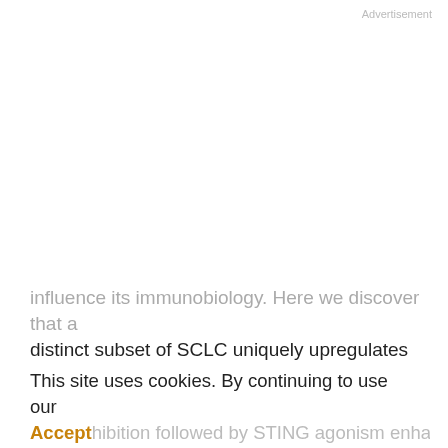Advertisement
influence its immunobiology. Here we discover that a distinct subset of SCLC uniquely upregulates MHC I, enriching for durable ICB benefit. In vitro modeling confirms epigenetic recovery of MHC I in SCLC following loss of neuroendocrine differentiation, which tracks with derepression of STING. Transient EZH2 inhibition expands these nonneuroendocrine cells, which display intrinsic innate immune signaling and basally restored antigen presentation. Consistent with these findings, murine nonneuroendocrine SCLC tumors are rejected in a
This site uses cookies. By continuing to use our website, you are agreeing to our privacy policy.
Accept
hibition followed by STING agonism enhances T-cell recognition and rejection of SCLC in mice. Together